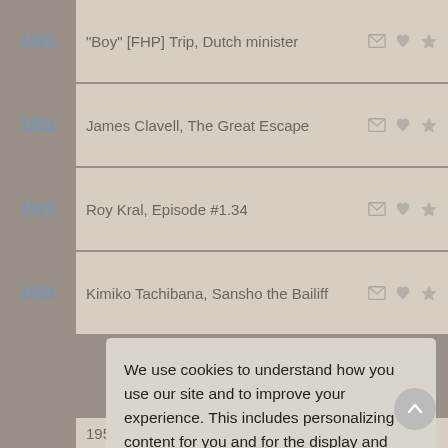1921  "Boy" [FHP] Trip, Dutch minister
1921  James Clavell, The Great Escape
1921  Roy Kral, Episode #1.34
1921  Kimiko Tachibana, Sansho the Bailiff
We use cookies to understand how you use our site and to improve your experience. This includes personalizing content for you and for the display and tracking of advertising. By continuing to use our site, you accept and agree to our use of cookies.  Privacy Policy
Got it!
1950's)